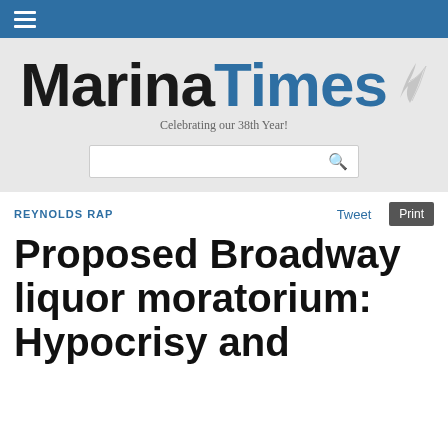Marina Times — Celebrating our 38th Year!
REYNOLDS RAP
Proposed Broadway liquor moratorium: Hypocrisy and